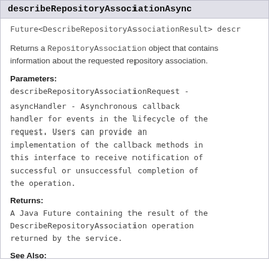describeRepositoryAssociationAsync
Future<DescribeRepositoryAssociationResult> descr
Returns a RepositoryAssociation object that contains information about the requested repository association.
Parameters:
describeRepositoryAssociationRequest -
asyncHandler - Asynchronous callback handler for events in the lifecycle of the request. Users can provide an implementation of the callback methods in this interface to receive notification of successful or unsuccessful completion of the operation.
Returns:
A Java Future containing the result of the DescribeRepositoryAssociation operation returned by the service.
See Also: